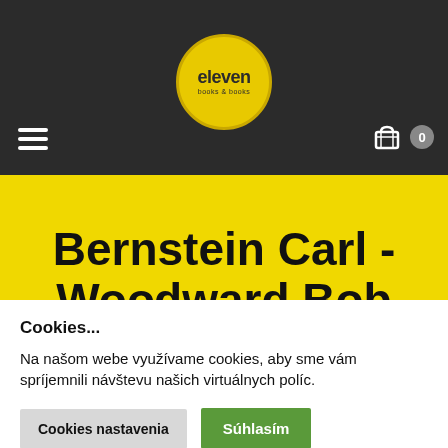[Figure (logo): Eleven books and books circular logo with yellow background on dark header bar]
[Figure (illustration): Hamburger menu icon (three white horizontal lines) on dark header]
[Figure (illustration): Shopping cart icon with badge showing 0 on dark header]
Bernstein Carl - Woodward Bob
Cookies...
Na našom webe využívame cookies, aby sme vám spríjemnili návštevu našich virtuálnych políc.
Cookies nastavenia | Súhlasím